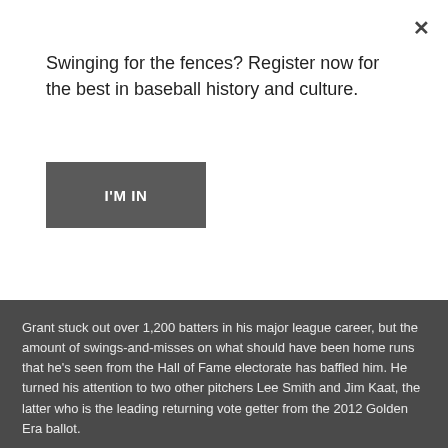Swinging for the fences? Register now for the best in baseball history and culture.
I'M IN
Grant stuck out over 1,200 batters in his major league career, but the amount of swings-and-misses on what should have been home runs that he's seen from the Hall of Fame electorate has baffled him. He turned his attention to two other pitchers Lee Smith and Jim Kaat, the latter who is the leading returning vote getter from the 2012 Golden Era ballot.